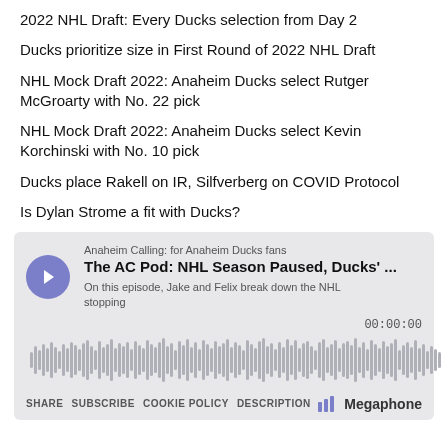2022 NHL Draft: Every Ducks selection from Day 2
Ducks prioritize size in First Round of 2022 NHL Draft
NHL Mock Draft 2022: Anaheim Ducks select Rutger McGroarty with No. 22 pick
NHL Mock Draft 2022: Anaheim Ducks select Kevin Korchinski with No. 10 pick
Ducks place Rakell on IR, Silfverberg on COVID Protocol
Is Dylan Strome a fit with Ducks?
[Figure (screenshot): Podcast player widget for 'Anaheim Calling: for Anaheim Ducks fans' showing episode 'The AC Pod: NHL Season Paused, Ducks' ...' with play button, waveform, time 00:00:00, and footer links SHARE, SUBSCRIBE, COOKIE POLICY, DESCRIPTION, and Megaphone branding.]